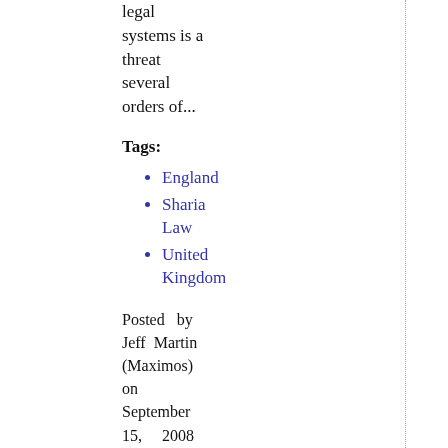legal systems is a threat several orders of...
Tags:
England
Sharia Law
United Kingdom
Posted by Jeff Martin (Maximos) on September 15, 2008 1:53 PM
Feed Subscription